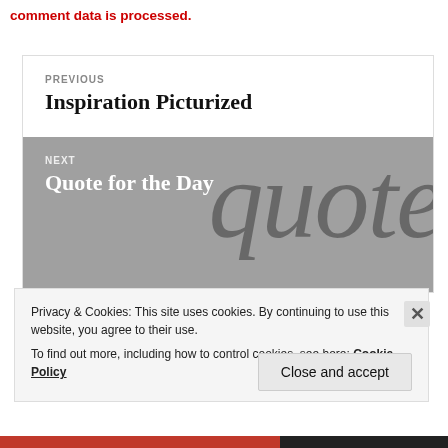comment data is processed.
PREVIOUS
Inspiration Picturized
[Figure (other): Navigation block showing NEXT post titled 'Quote for the Day' with decorative cursive 'quote' text in background on grey background]
Privacy & Cookies: This site uses cookies. By continuing to use this website, you agree to their use.
To find out more, including how to control cookies, see here: Cookie Policy
Close and accept